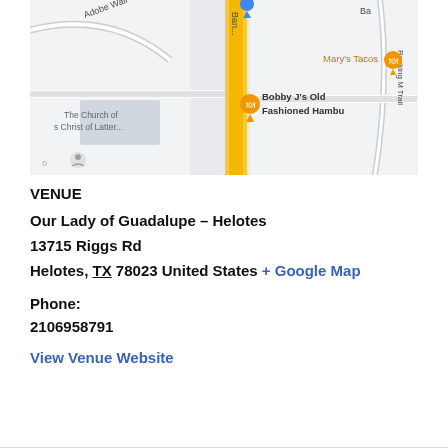[Figure (map): Google Maps view showing the area around Our Lady of Guadalupe in Helotes, TX. Visible landmarks include Mary's Tacos, Bobby J's Old Fashioned Hamburgers, The Church of Jesus Christ of Latter-day Saints, and roads including Bandera and Rocking M Trail.]
VENUE
Our Lady of Guadalupe – Helotes
13715 Riggs Rd
Helotes, TX 78023 United States + Google Map
Phone:
2106958791
View Venue Website